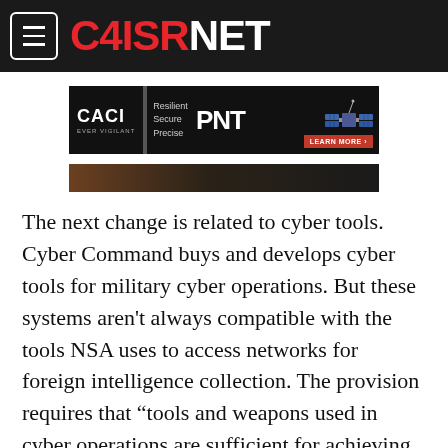C4ISRNET
[Figure (other): CACI advertisement banner: Resilient Secure Precise PNT with satellite image and Learn More button]
[Figure (photo): Article header image strip - dark/brown toned partial image]
The next change is related to cyber tools. Cyber Command buys and develops cyber tools for military cyber operations. But these systems aren't always compatible with the tools NSA uses to access networks for foreign intelligence collection. The provision requires that “tools and weapons used in cyber operations are sufficient for achieving required